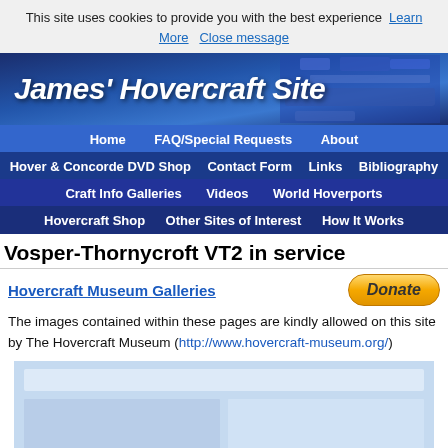This site uses cookies to provide you with the best experience  Learn More   Close message
[Figure (screenshot): James' Hovercraft Site banner with blue background showing hovercraft]
Home  FAQ/Special Requests  About
Hover & Concorde DVD Shop  Contact Form  Links  Bibliography
Craft Info Galleries  Videos  World Hoverports
Hovercraft Shop  Other Sites of Interest  How It Works
Vosper-Thornycroft VT2 in service
Hovercraft Museum Galleries
The images contained within these pages are kindly allowed on this site by The Hovercraft Museum (http://www.hovercraft-museum.org/)
[Figure (photo): Hovercraft image gallery placeholder showing multiple hovercraft images in a grid layout with blue tones]